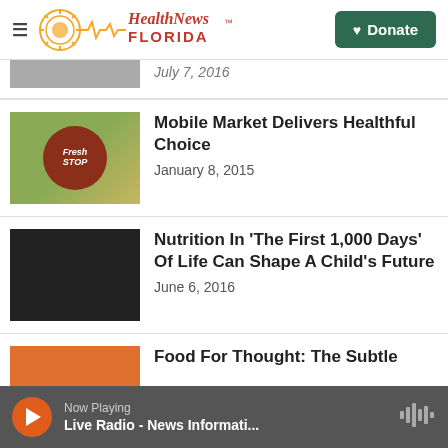Health News Florida - Donate
July 7, 2016
Mobile Market Delivers Healthful Choice
January 8, 2015
Nutrition In 'The First 1,000 Days' Of Life Can Shape A Child's Future
June 6, 2016
Food For Thought: The Subtle
Now Playing Live Radio - News Informati...